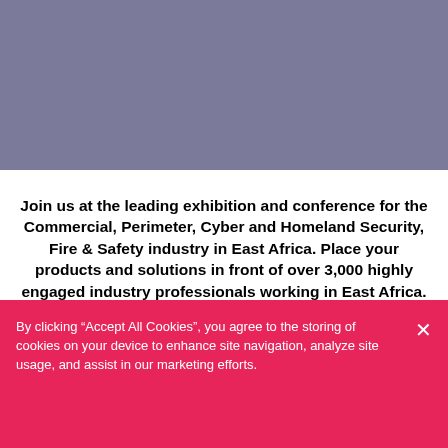[Figure (other): Muted purple/slate colored header banner occupying the top portion of the page]
Join us at the leading exhibition and conference for the Commercial, Perimeter, Cyber and Homeland Security, Fire & Safety industry in East Africa. Place your products and solutions in front of over 3,000 highly engaged industry professionals working in East Africa.
By clicking “Accept All Cookies”, you agree to the storing of cookies on your device to enhance site navigation, analyze site usage, and assist in our marketing efforts.